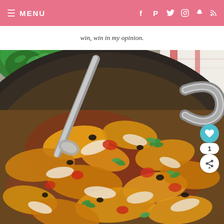≡ MENU  [social icons: Facebook, Pinterest, Twitter, Instagram, Snapchat, RSS]
win, win in my opinion.
[Figure (photo): Overhead close-up of a dark non-stick skillet containing a Tex-Mex casserole dish topped with melted shredded cheese (cheddar and mozzarella), tomatoes, black beans, and fresh cilantro leaves. A metal spoon handle is visible on the left side. Fresh parsley/cilantro and a dish towel are in the background on a gray wooden surface.]